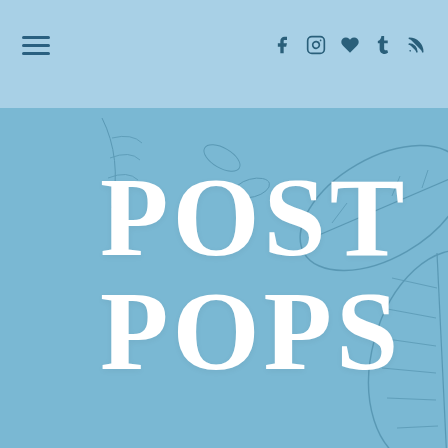Navigation bar with hamburger menu and social icons: f, camera, heart, t, rss
[Figure (illustration): Botanical illustration with leaves, branches, seed pods on a sky-blue background]
POST POPS
Aesthetically pleasing notification emails so you never miss a post.